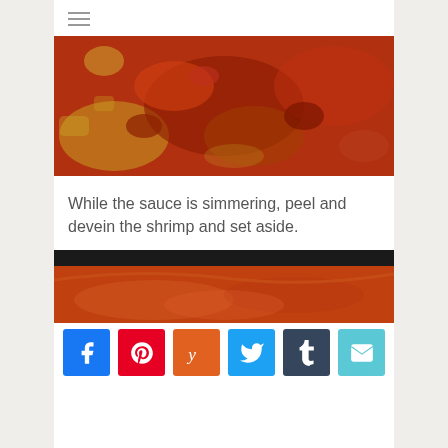[Figure (photo): Hamburger menu icon (three horizontal lines)]
[Figure (photo): Close-up photo of a simmering tomato and bean sauce with chunky vegetables in a pan]
While the sauce is simmering, peel and devein the shrimp and set aside.
[Figure (photo): Photo of simmering red tomato sauce in a dark pan, partially visible]
[Figure (infographic): Social sharing buttons: Facebook, Pinterest, Yummly, Twitter, Tumblr, Email]